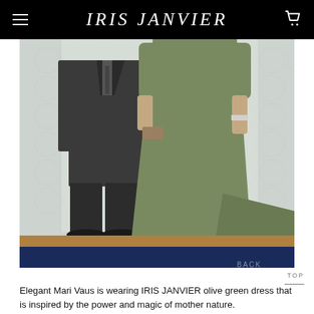IRIS JANVIER
[Figure (photo): A man in a dark suit and black dress shoes stands next to a woman wearing an olive green long-sleeved floor-length gown with a train, holding a small clutch, with a watch on her wrist. They stand against a light patterned backdrop above a herringbone wood floor and blue carpet.]
Elegant Mari Vaus is wearing IRIS JANVIER olive green dress that is inspired by the power and magic of mother nature.